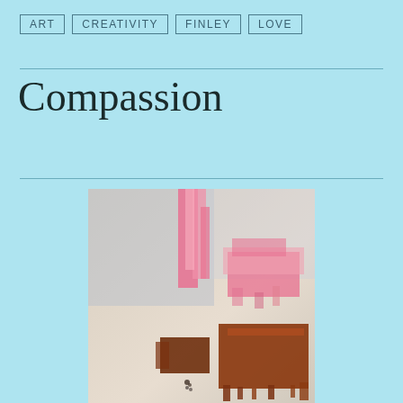ART   CREATIVITY   FINLEY   LOVE
Compassion
[Figure (photo): A child's painting featuring pink brushstrokes in the upper portion and dark orange/brown paint in the lower portion, on a light beige background.]